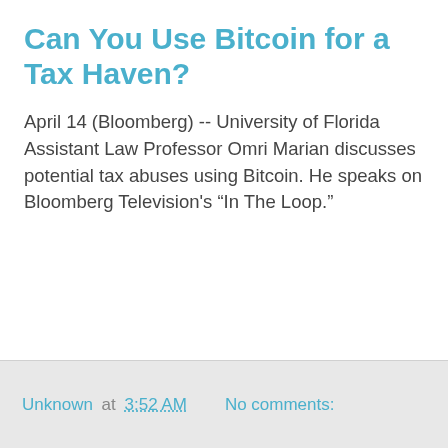Can You Use Bitcoin for a Tax Haven?
April 14 (Bloomberg) -- University of Florida Assistant Law Professor Omri Marian discusses potential tax abuses using Bitcoin. He speaks on Bloomberg Television's “In The Loop.”
Unknown at 3:52 AM   No comments: